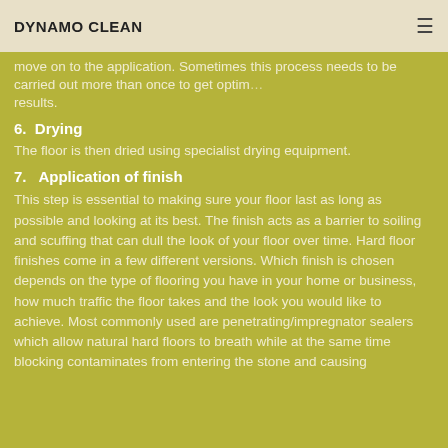DYNAMO CLEAN
move on to the application. Sometimes this process needs to be carried out more than once to get optimal results.
6.  Drying
The floor is then dried using specialist drying equipment.
7.  Application of finish
This step is essential to making sure your floor last as long as possible and looking at its best. The finish acts as a barrier to soiling and scuffing that can dull the look of your floor over time. Hard floor finishes come in a few different versions. Which finish is chosen depends on the type of flooring you have in your home or business, how much traffic the floor takes and the look you would like to achieve. Most commonly used are penetrating/impregnator sealers which allow natural hard floors to breath while at the same time blocking contaminates from entering the stone and causing